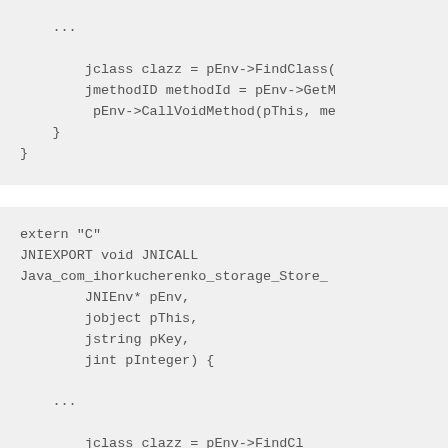...
        jclass clazz = pEnv->FindClass(
        jmethodID methodId = pEnv->GetM
         pEnv->CallVoidMethod(pThis, me
    }
}
extern "C"
JNIEXPORT void JNICALL
Java_com_ihorkucherenko_storage_Store_
        JNIEnv* pEnv,
        jobject pThis,
        jstring pKey,
        jint pInteger) {

    ...

        jclass clazz = pEnv->FindCl
        jmethodID methodId = pEnv->Get